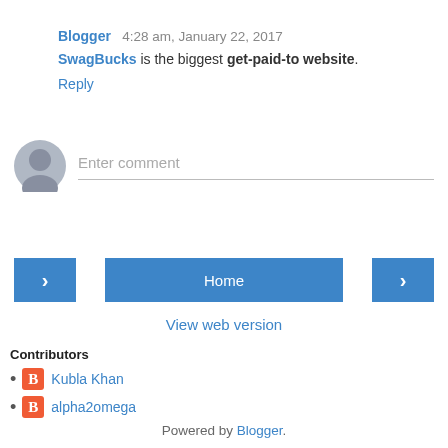Blogger  4:28 am, January 22, 2017
SwagBucks is the biggest get-paid-to website.
Reply
[Figure (other): Comment input area with grey avatar circle and 'Enter comment' placeholder text with bottom border]
[Figure (other): Navigation bar with left arrow button, Home button, and right arrow button in blue]
View web version
Contributors
Kubla Khan
alpha2omega
Powered by Blogger.